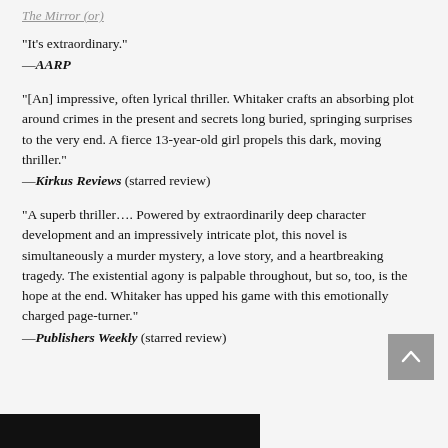The Mirror (or)
“It’s extraordinary.”
—AARP
“[An] impressive, often lyrical thriller. Whitaker crafts an absorbing plot around crimes in the present and secrets long buried, springing surprises to the very end. A fierce 13-year-old girl propels this dark, moving thriller.”
—Kirkus Reviews (starred review)
“A superb thriller…. Powered by extraordinarily deep character development and an impressively intricate plot, this novel is simultaneously a murder mystery, a love story, and a heartbreaking tragedy. The existential agony is palpable throughout, but so, too, is the hope at the end. Whitaker has upped his game with this emotionally charged page-turner.”
—Publishers Weekly (starred review)
[Figure (other): Black bar at bottom of page, partial image]